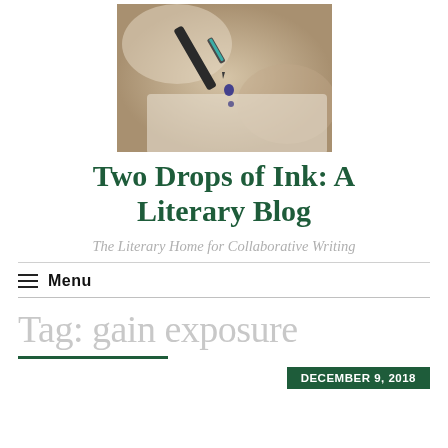[Figure (photo): Close-up photo of a pen nib with a blue ink drop falling from it, blurred background]
Two Drops of Ink: A Literary Blog
The Literary Home for Collaborative Writing
≡ Menu
Tag: gain exposure
DECEMBER 9, 2018